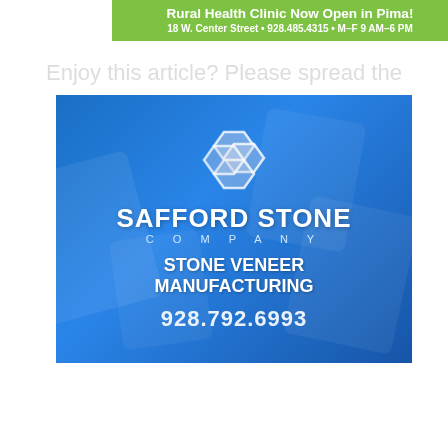[Figure (other): Green banner advertisement: Rural Health Clinic Now Open in Pima! 18 W. Center Street • 928.485.4315 • M–F 9 AM–6 PM]
Enjoy this article? Please spread the word :)
[Figure (logo): Safford Stone Company advertisement. Blue gradient background with decorative stone pattern watermark. White interlocking diamond logo at top. Text: SAFFORD STONE COMPANY. STONE VENEER MANUFACTURING. 928.792.6993]